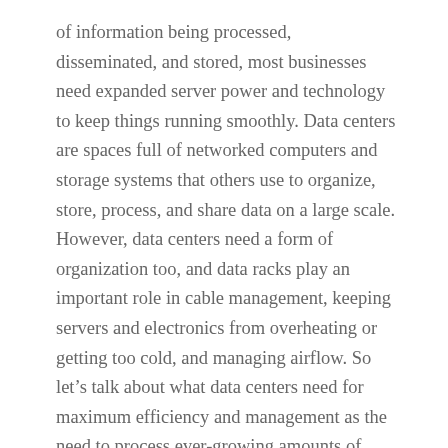of information being processed, disseminated, and stored, most businesses need expanded server power and technology to keep things running smoothly. Data centers are spaces full of networked computers and storage systems that others use to organize, store, process, and share data on a large scale. However, data centers need a form of organization too, and data racks play an important role in cable management, keeping servers and electronics from overheating or getting too cold, and managing airflow. So let's talk about what data centers need for maximum efficiency and management as the need to process ever-growing amounts of information increases.
What's the Need for Data Centers?
Everyone knows that backing up and saving your work is important. We've probably all had that moment when you close out of a program without